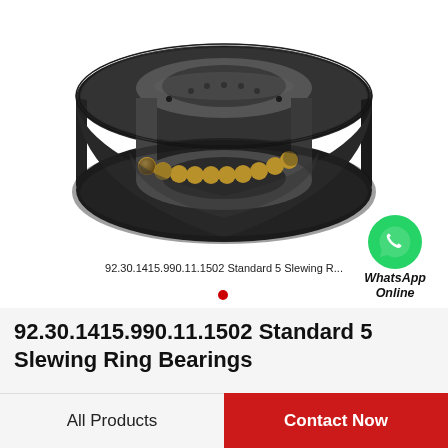[Figure (illustration): A slewing ring bearing (large circular bearing with gear teeth on outer ring, ball bearings visible through cutaway section, metallic dark finish with gold-colored balls) shown in 3D perspective on white background.]
92.30.1415.990.11.1502 Standard 5 Slewing R...
[Figure (logo): WhatsApp icon (green speech bubble with phone handset) with text 'WhatsApp Online' in italic bold below it.]
92.30.1415.990.11.1502 Standard 5 Slewing Ring Bearings
All Products
Contact Now